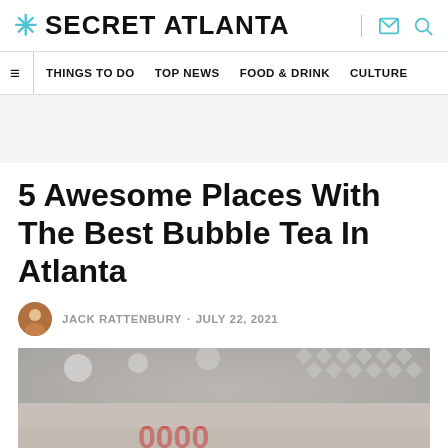* SECRET ATLANTA
≡  THINGS TO DO  TOP NEWS  FOOD & DRINK  CULTURE
5 Awesome Places With The Best Bubble Tea In Atlanta
JACK RATTENBURY · JULY 22, 2021
[Figure (photo): Interior photo of a bubble tea shop with decorative lighting and signage]